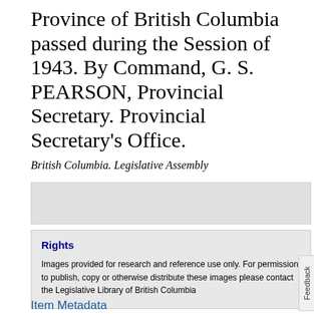Province of British Columbia passed during the Session of 1943. By Command, G. S. PEARSON, Provincial Secretary. Provincial Secretary's Office.
British Columbia. Legislative Assembly
Rights
Images provided for research and reference use only. For permission to publish, copy or otherwise distribute these images please contact the Legislative Library of British Columbia
Item Metadata